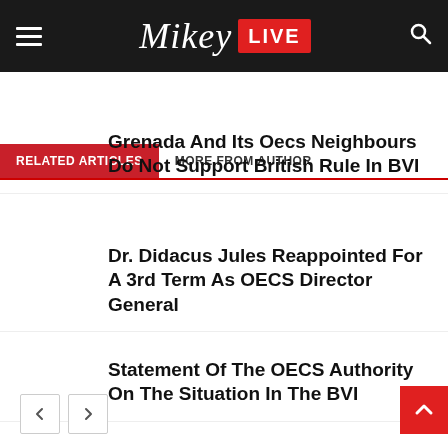Mikey LIVE
RELATED ARTICLES | MORE FROM AUTHOR
Grenada And Its Oecs Neighbours Do Not Support British Rule In BVI
Dr. Didacus Jules Reappointed For A 3rd Term As OECS Director General
Statement Of The OECS Authority On The Situation In The BVI